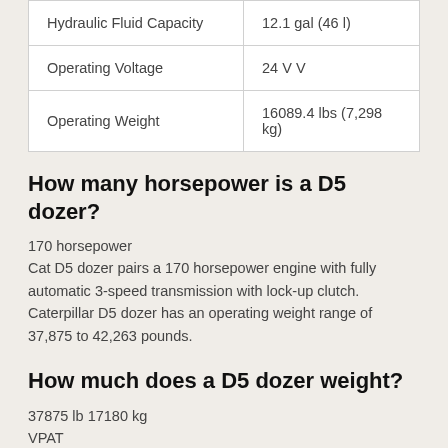| Hydraulic Fluid Capacity | 12.1 gal (46 l) |
| Operating Voltage | 24 V V |
| Operating Weight | 16089.4 lbs (7,298 kg) |
How many horsepower is a D5 dozer?
170 horsepower
Cat D5 dozer pairs a 170 horsepower engine with fully automatic 3-speed transmission with lock-up clutch. Caterpillar D5 dozer has an operating weight range of 37,875 to 42,263 pounds.
How much does a D5 dozer weight?
37875 lb 17180 kg
VPAT